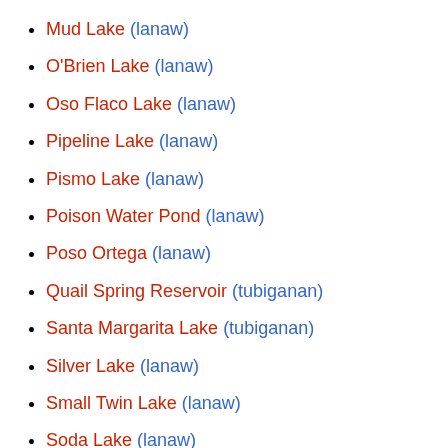Mud Lake (lanaw)
O'Brien Lake (lanaw)
Oso Flaco Lake (lanaw)
Pipeline Lake (lanaw)
Pismo Lake (lanaw)
Poison Water Pond (lanaw)
Poso Ortega (lanaw)
Quail Spring Reservoir (tubiganan)
Santa Margarita Lake (tubiganan)
Silver Lake (lanaw)
Small Twin Lake (lanaw)
Soda Lake (lanaw)